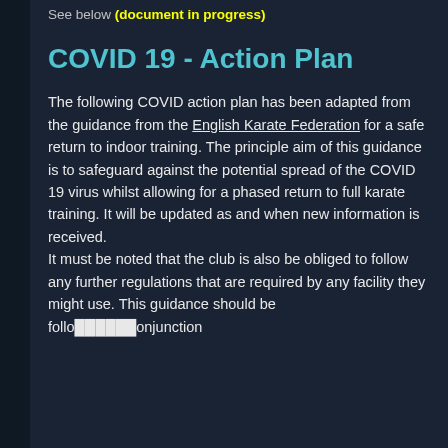See below (document in progress)
COVID 19 - Action Plan
The following COVID action plan has been adapted from the guidance from the English Karate Federation for a safe return to indoor training. The principle aim of this guidance is to safeguard against the potential spread of the COVID 19 virus whilst allowing for a phased return to full karate training. It will be updated as and when new information is received.
It must be noted that the club is also be obliged to follow any further regulations that are required by any facility they might use. This guidance should be followed in conjunction